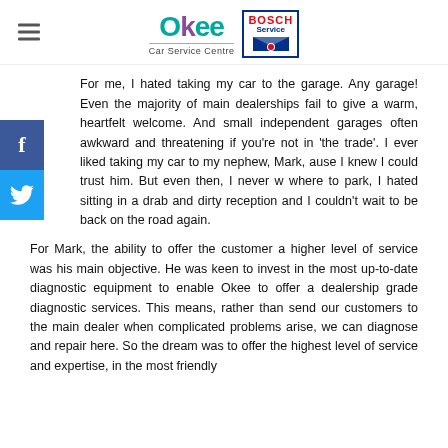[Figure (logo): Okee Car Service Centre logo with Bosch Service badge]
For me, I hated taking my car to the garage. Any garage! Even the majority of main dealerships fail to give a warm, heartfelt welcome. And small independent garages often awkward and threatening if you're not in 'the trade'. I ever liked taking my car to my nephew, Mark, ause I knew I could trust him. But even then, I never w where to park, I hated sitting in a drab and dirty reception and I couldn't wait to be back on the road again.
For Mark, the ability to offer the customer a higher level of service was his main objective. He was keen to invest in the most up-to-date diagnostic equipment to enable Okee to offer a dealership grade diagnostic services. This means, rather than send our customers to the main dealer when complicated problems arise, we can diagnose and repair here. So the dream was to offer the highest level of service and expertise, in the most friendly